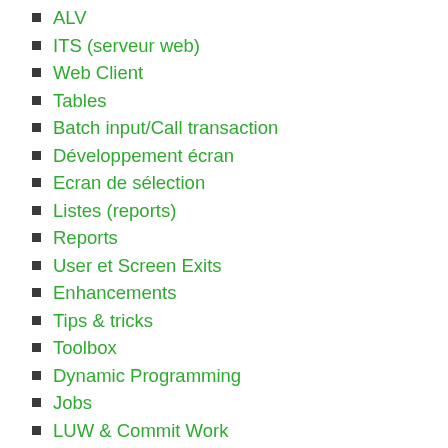ALV
ITS (serveur web)
Web Client
Tables
Batch input/Call transaction
Développement écran
Ecran de sélection
Listes (reports)
Reports
User et Screen Exits
Enhancements
Tips & tricks
Toolbox
Dynamic Programming
Jobs
LUW & Commit Work
Performance
Popups
Matchcodes (F4)
F1 help